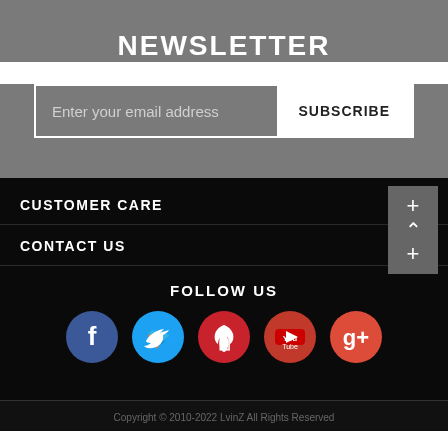NEWSLETTER
Enter your email address
SUBSCRIBE
CUSTOMER CARE
CONTACT US
FOLLOW US
[Figure (infographic): Social media icons: Facebook (blue circle), Twitter (cyan circle), Pinterest (red circle), YouTube (dark red circle), Google+ (orange-red circle)]
Copyright © 2010-2022 LvinZ All Rights Reserved